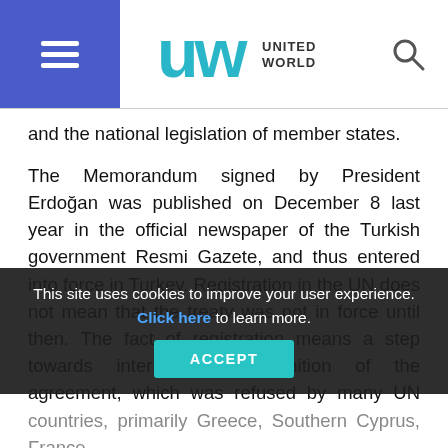UNITED WORLD
and the national legislation of member states.
The Memorandum signed by President Erdoğan was published on December 8 last year in the official newspaper of the Turkish government Resmi Gazete, and thus entered into force in Turkey. Registration in the UN does not mean that the treaty was not in force until then. The fact of registration means a step towards international recognition of the agreement, which was refused by many UN countries, primarily Greece, Southern Cyprus, France and Egypt.
This site uses cookies to improve your user experience. Click here to learn more.
Geopolitical Victory
The Memorandum on the Maritime Boundaries of